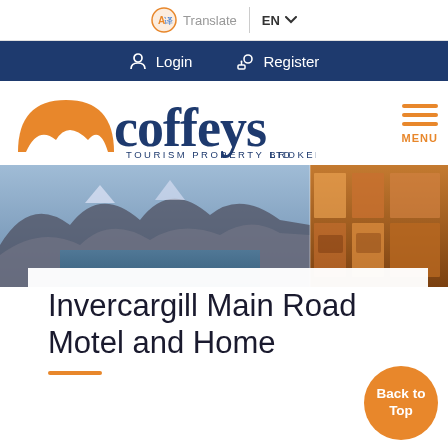Translate EN
Login  Register
[Figure (logo): Coffeys Tourism Property Brokers Ltd logo with orange mountain/umbrella icon and dark navy text]
[Figure (photo): Hero banner showing New Zealand mountain lake landscape (Queenstown) on left, and hotel restaurant interior at night on right]
Invercargill Main Road Motel and Home